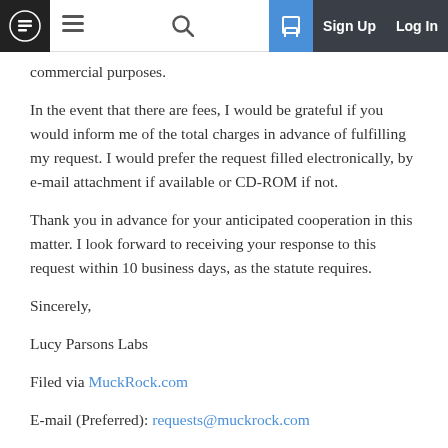MuckRock navigation bar with logo, hamburger menu, search, sign up, and log in
commercial purposes.
In the event that there are fees, I would be grateful if you would inform me of the total charges in advance of fulfilling my request. I would prefer the request filled electronically, by e-mail attachment if available or CD-ROM if not.
Thank you in advance for your anticipated cooperation in this matter. I look forward to receiving your response to this request within 10 business days, as the statute requires.
Sincerely,
Lucy Parsons Labs
Filed via MuckRock.com
E-mail (Preferred): requests@muckrock.com